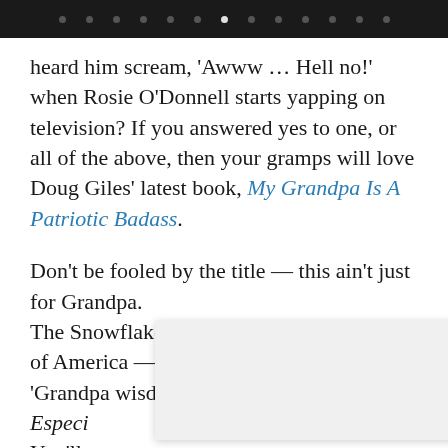dot navigation bar
heard him scream, 'Awww … Hell no!' when Rosie O'Donnell starts yapping on television? If you answered yes to one, or all of the above, then your gramps will love Doug Giles' latest book, My Grandpa Is A Patriotic Badass.
Don't be fooled by the title — this ain't just for Grandpa.
The Snowflake Generation — and the rest of America — needs a good ol' dose of 'Grandpa wisdom'.
Especi[ally...]
You'll [learn jus]t as much[...]

The m[ore...]